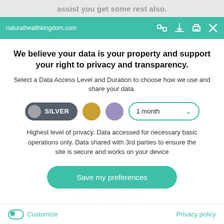assist you get some rest also.
naturalhealthkingdom.com
We believe your data is your property and support your right to privacy and transparency.
Select a Data Access Level and Duration to choose how we use and share your data.
[Figure (infographic): Privacy level selector row: silver toggle button selected, gold circle, purple circle, and 1 month dropdown]
Highest level of privacy. Data accessed for necessary basic operations only. Data shared with 3rd parties to ensure the site is secure and works on your device
Save my preferences
Customize
Privacy policy